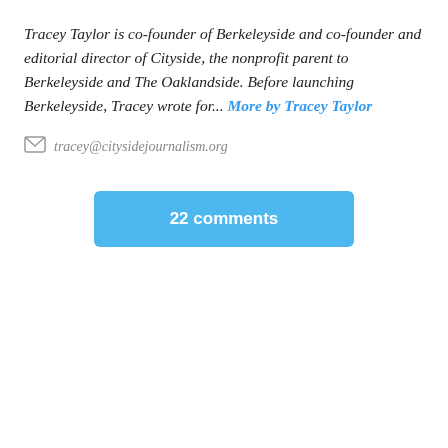Tracey Taylor is co-founder of Berkeleyside and co-founder and editorial director of Cityside, the nonprofit parent to Berkeleyside and The Oaklandside. Before launching Berkeleyside, Tracey wrote for... More by Tracey Taylor
tracey@citysidejournalism.org
22 comments